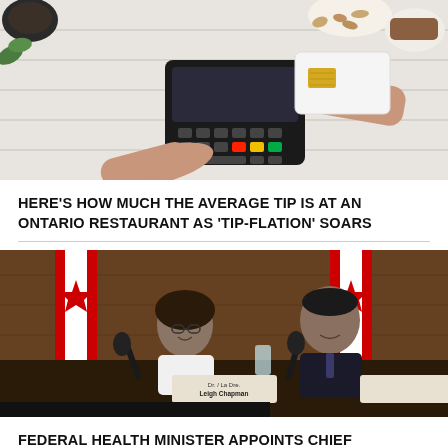[Figure (photo): Overhead view of two hands holding a credit card near a payment terminal on a white wooden surface. In the background are a coffee cup, a bowl of almonds, and a small dish with a cookie.]
HERE'S HOW MUCH THE AVERAGE TIP IS AT AN ONTARIO RESTAURANT AS 'TIP-FLATION' SOARS
[Figure (photo): Press conference scene with two people seated at a table with Canadian flags in the background. Nameplates read 'Dr. / La Dre. Leigh Chapman' and 'Hon. / L'hon. Jean-Yves Duclos'. A woman with glasses on the left smiles, a man in a suit on the right claps.]
FEDERAL HEALTH MINISTER APPOINTS CHIEF